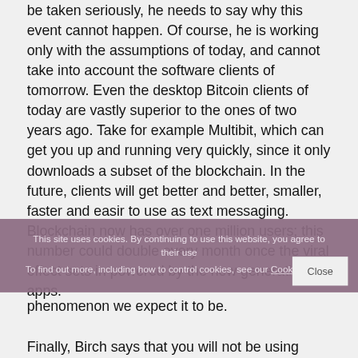be taken seriously, he needs to say why this event cannot happen. Of course, he is working only with the assumptions of today, and cannot take into account the software clients of tomorrow. Even the desktop Bitcoin clients of today are vastly superior to the ones of two years ago. Take for example Multibit, which can get you up and running very quickly, since it only downloads a subset of the blockchain. In the future, clients will get better and better, smaller, faster and easir to use as text messaging. Blockchain now has over one million users; this number could double every month once the viral effect sets in powered by the new generation of apps. By continuing to use this website, you agree to their use phenomenon we expect it to be.
This site uses cookies. By continuing to use this website, you agree to their use. To find out more, including how to control cookies, see our Cookies Policy
Finally, Birch says that you will not be using Bitcoin to get on the subway or buy a pair of shoes. This is completely absurd. You can already buy shoes with